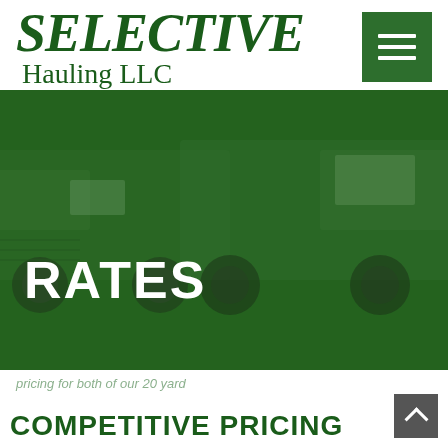[Figure (logo): Selective Hauling LLC logo with green serif text]
[Figure (other): Hamburger menu button, green background with three white horizontal lines]
[Figure (photo): Hero banner with green overlay showing trucks parked, with large white bold text RATES]
pricing for both of our 20 yard
COMPETITIVE PRICING